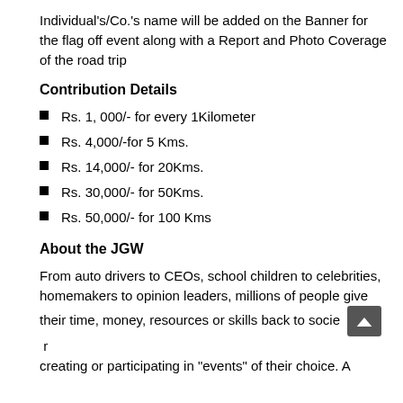Individual's/Co.'s name will be added on the Banner for the flag off event along with a Report and Photo Coverage of the road trip
Contribution Details
Rs. 1, 000/- for every 1Kilometer
Rs. 4,000/-for 5 Kms.
Rs. 14,000/- for 20Kms.
Rs. 30,000/- for 50Kms.
Rs. 50,000/- for 100 Kms
About the JGW
From auto drivers to CEOs, school children to celebrities, homemakers to opinion leaders, millions of people give their time, money, resources or skills back to socie  r creating or participating in "events" of their choice. A